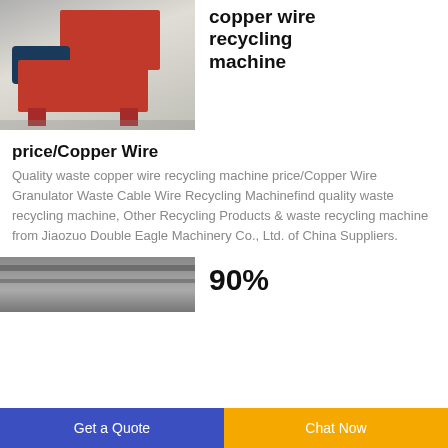[Figure (photo): Red copper wire recycling machine with blue electric motor on a metal frame, photographed in an industrial setting]
copper wire recycling machine
price/Copper Wire
Quality waste copper wire recycling machine price/Copper Wire Granulator Waste Cable Wire Recycling Machinefind quality waste recycling machine, Other Recycling Products & waste recycling machine from Jiaozuo Double Eagle Machinery Co., Ltd. of China Suppliers.
[Figure (photo): Interior of an industrial factory/warehouse with overhead beams and equipment]
90%
Get a Quote   Chat Now